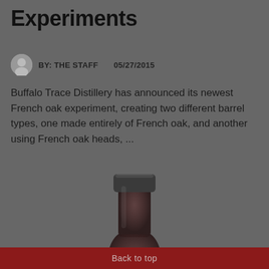Experiments
BY: THE STAFF    05/27/2015
Buffalo Trace Distillery has announced its newest French oak experiment, creating two different barrel types, one made entirely of French oak, and another using French oak heads, ...
[Figure (photo): Dark bottle of Buffalo Trace whiskey, blurred/dark background, bottle neck and top visible]
Back to top